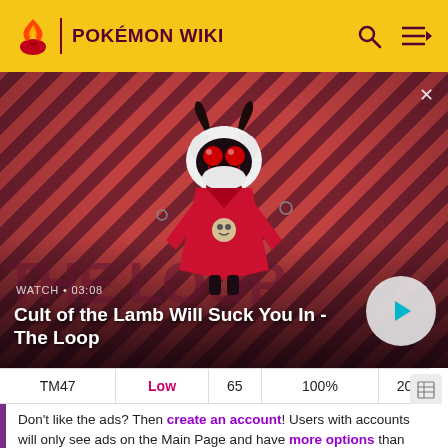POKÉMON WIKI
[Figure (screenshot): Video thumbnail for 'Cult of the Lamb Will Suck You In - The Loop' showing a cartoon lamb character with dark horns and red eyes on a red and dark striped background. WATCH · 03:08 label visible. Play button on right.]
| TM47 | Low | 65 | 100% | 20 |
Don't like the ads? Then create an account! Users with accounts will only see ads on the Main Page and have more options than anonymous users.